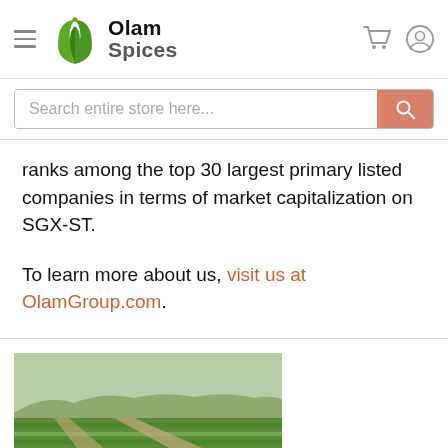Olam Spices
ranks among the top 30 largest primary listed companies in terms of market capitalization on SGX-ST.
To learn more about us, visit us at OlamGroup.com.
[Figure (photo): Aerial view of agricultural fields with rows of green crops and dirt paths]